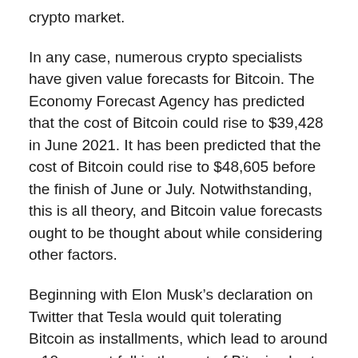crypto market.
In any case, numerous crypto specialists have given value forecasts for Bitcoin. The Economy Forecast Agency has predicted that the cost of Bitcoin could rise to $39,428 in June 2021. It has been predicted that the cost of Bitcoin could rise to $48,605 before the finish of June or July. Notwithstanding, this is all theory, and Bitcoin value forecasts ought to be thought about while considering other factors.
Beginning with Elon Musk’s declaration on Twitter that Tesla would quit tolerating Bitcoin as installments, which lead to around a 10 percent fall in the cost of Bitcoin short-term. On May 19, Bitcoin further tumbled down to 30k, after China built up its prohibitions on cryptographic forms of money.
From that point forward, the cost of Bitcoin varied a